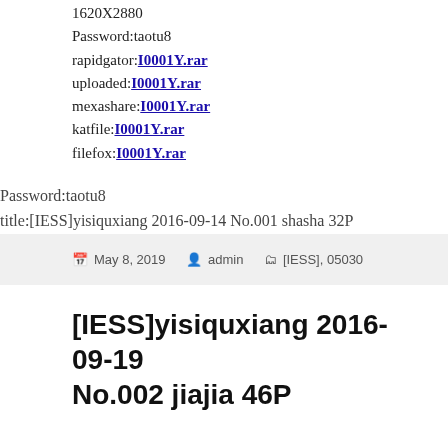1620X2880
Password:taotu8
rapidgator:I0001Y.rar
uploaded:I0001Y.rar
mexashare:I0001Y.rar
katfile:I0001Y.rar
filefox:I0001Y.rar
Password:taotu8
title:[IESS]yisiquxiang 2016-09-14 No.001 shasha 32P
May 8, 2019   admin   [IESS], 05030
[IESS]yisiquxiang 2016-09-19 No.002 jiajia 46P